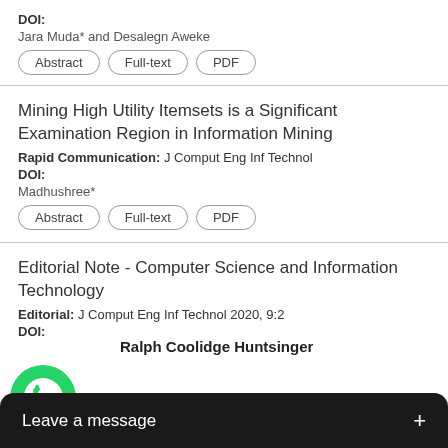DOI:
Jara Muda* and Desalegn Aweke
Abstract | Full-text | PDF
Mining High Utility Itemsets is a Significant Examination Region in Information Mining
Rapid Communication: J Comput Eng Inf Technol
DOI:
Madhushree*
Abstract | Full-text | PDF
Editorial Note - Computer Science and Information Technology
Editorial: J Comput Eng Inf Technol 2020, 9:2
DOI:
Ralph Coolidge Huntsinger
Abstract | Full-text | PDF
[Figure (illustration): WhatsApp chat widget with green phone icon and 'Leave a message +' bar overlay]
A C...